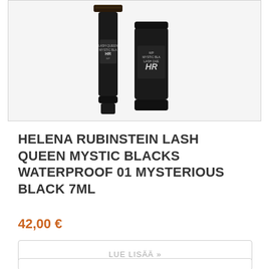[Figure (photo): Two black mascara tubes for Helena Rubinstein Lash Queen Mystic Blacks Waterproof product — a tall wand applicator and a shorter cap/bottle, both black with the HR logo and label text visible on the bottle]
HELENA RUBINSTEIN LASH QUEEN MYSTIC BLACKS WATERPROOF 01 MYSTERIOUS BLACK 7ML
42,00 €
LUE LISÄÄ »